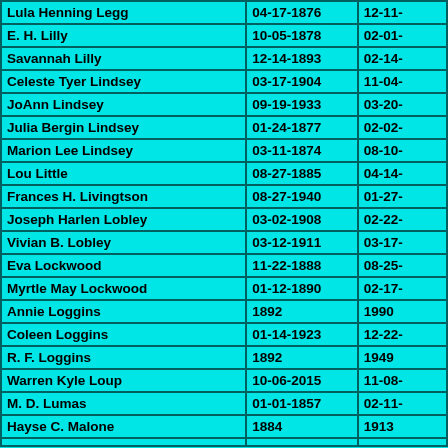| Name | Birth Date | Death Date |
| --- | --- | --- |
| Lula Henning Legg | 04-17-1876 | 12-11-… |
| E. H. Lilly | 10-05-1878 | 02-01-… |
| Savannah Lilly | 12-14-1893 | 02-14-… |
| Celeste Tyer Lindsey | 03-17-1904 | 11-04-… |
| JoAnn Lindsey | 09-19-1933 | 03-20-… |
| Julia Bergin Lindsey | 01-24-1877 | 02-02-… |
| Marion Lee Lindsey | 03-11-1874 | 08-10-… |
| Lou Little | 08-27-1885 | 04-14-… |
| Frances H. Livingtson | 08-27-1940 | 01-27-… |
| Joseph Harlen Lobley | 03-02-1908 | 02-22-… |
| Vivian B. Lobley | 03-12-1911 | 03-17-… |
| Eva Lockwood | 11-22-1888 | 08-25-… |
| Myrtle May Lockwood | 01-12-1890 | 02-17-… |
| Annie Loggins | 1892 | 1990 |
| Coleen Loggins | 01-14-1923 | 12-22-… |
| R. F. Loggins | 1892 | 1949 |
| Warren Kyle Loup | 10-06-2015 | 11-08-… |
| M. D. Lumas | 01-01-1857 | 02-11-… |
| Hayse C. Malone | 1884 | 1913 |